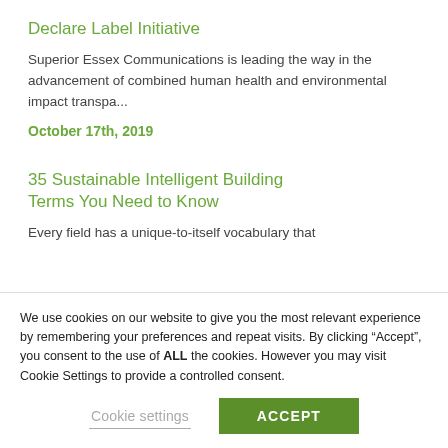Declare Label Initiative
Superior Essex Communications is leading the way in the advancement of combined human health and environmental impact transpa...
October 17th, 2019
35 Sustainable Intelligent Building Terms You Need to Know
Every field has a unique-to-itself vocabulary that
We use cookies on our website to give you the most relevant experience by remembering your preferences and repeat visits. By clicking “Accept”, you consent to the use of ALL the cookies. However you may visit Cookie Settings to provide a controlled consent.
Cookie settings
ACCEPT